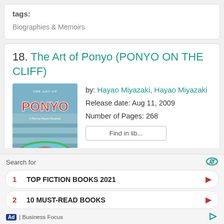tags:
Biographies & Memoirs
18. The Art of Ponyo (PONYO ON THE CLIFF)
[Figure (illustration): Book cover for The Art of Ponyo showing a fish character in a green bowl with pink/red text PONYO on a blue/teal background]
by: Hayao Miyazaki, Hayao Miyazaki
Release date: Aug 11, 2009
Number of Pages: 268
Search for
1 TOP FICTION BOOKS 2021
2 10 MUST-READ BOOKS
Ad | Business Focus